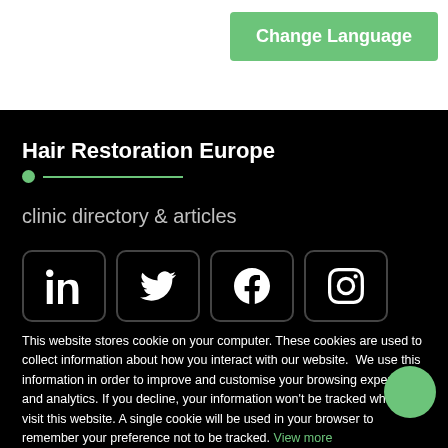[Figure (screenshot): Green 'Change Language' button in the top-right of a white header bar]
Hair Restoration Europe
clinic directory & articles
[Figure (infographic): Four social media icon buttons (LinkedIn, Twitter, Facebook, Instagram) in rounded square outlines on black background]
This website stores cookie on your computer. These cookies are used to collect information about how you interact with our website. We use this information in order to improve and customise your browsing experience and analytics. If you decline, your information won't be tracked when you visit this website. A single cookie will be used in your browser to remember your preference not to be tracked. View more
Cookies settings
✓ Accept